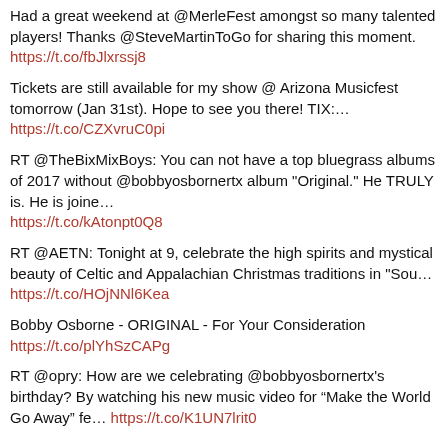Had a great weekend at @MerleFest amongst so many talented players! Thanks @SteveMartinToGo for sharing this moment. https://t.co/fbJlxrssj8
Tickets are still available for my show @ Arizona Musicfest tomorrow (Jan 31st). Hope to see you there! TIX:… https://t.co/CZXvruC0pi
RT @TheBixMixBoys: You can not have a top bluegrass albums of 2017 without @bobbyosbornertx album "Original." He TRULY is. He is joine… https://t.co/kAtonpt0Q8
RT @AETN: Tonight at 9, celebrate the high spirits and mystical beauty of Celtic and Appalachian Christmas traditions in "Sou… https://t.co/HOjNNl6Kea
Bobby Osborne - ORIGINAL - For Your Consideration https://t.co/plYhSzCAPg
RT @opry: How are we celebrating @bobbyosbornertx's birthday? By watching his new music video for “Make the World Go Away” fe… https://t.co/K1UN7lrit0